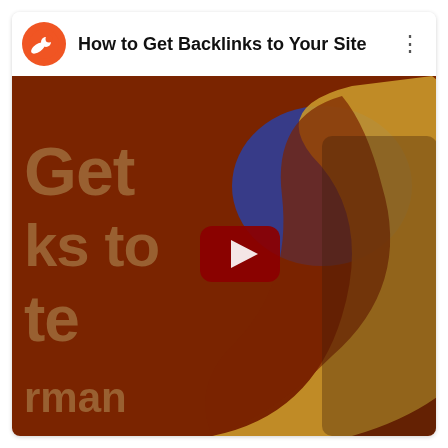[Figure (screenshot): YouTube video card showing 'How to Get Backlinks to Your Site' with Semrush logo, play button, and partial thumbnail showing a person and large text 'Get ks to te rman' on a dark orange/brown background with a large stylized S/C logo shape in gold and blue.]